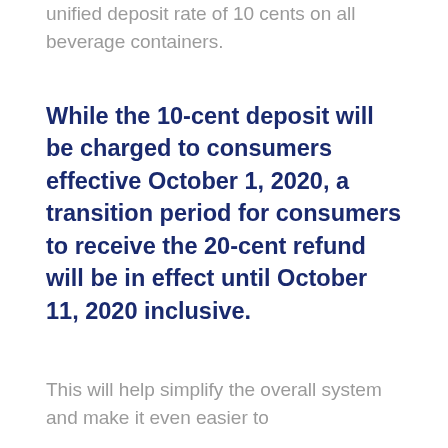unified deposit rate of 10 cents on all beverage containers.
While the 10-cent deposit will be charged to consumers effective October 1, 2020, a transition period for consumers to receive the 20-cent refund will be in effect until October 11, 2020 inclusive.
This will help simplify the overall system and make it even easier to